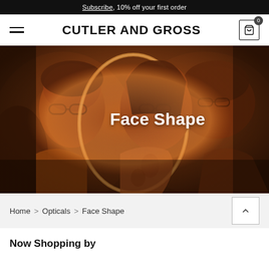Subscribe, 10% off your first order
CUTLER AND GROSS
[Figure (photo): Fashion photo of three people wearing stylish eyeglasses in a warm amber/orange-lit setting, with glowing circular mirror light in background. Text overlay reads 'Face Shape'.]
Home > Opticals > Face Shape
Now Shopping by